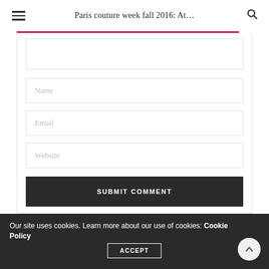Paris couture week fall 2016: At...
Name
Email
Website
SUBMIT COMMENT
Our site uses cookies. Learn more about our use of cookies: Cookie Policy
ACCEPT